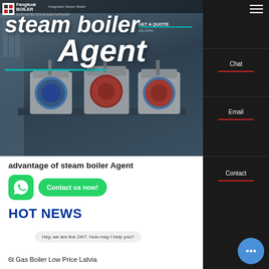[Figure (screenshot): Website header with boiler machinery background image, company logo, navigation, and large hero text reading 'steam boiler Agent']
steam boiler Agent
advantage of steam boiler Agent
[Figure (other): WhatsApp green icon button and 'Contact us now!' green button]
HOT NEWS
Hey, we are live 24/7. How may I help you?
6t Gas Boiler Low Price Latvia